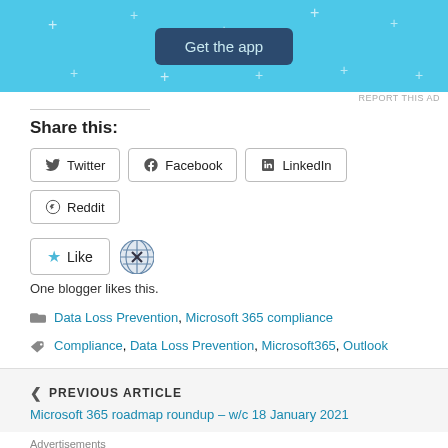[Figure (screenshot): Light blue advertisement banner with 'Get the app' button and decorative plus marks]
REPORT THIS AD
Share this:
Twitter  Facebook  LinkedIn  Reddit
[Figure (screenshot): Like button with star icon and blogger globe avatar. Text: One blogger likes this.]
One blogger likes this.
Data Loss Prevention, Microsoft 365 compliance
Compliance, Data Loss Prevention, Microsoft365, Outlook
PREVIOUS ARTICLE
Microsoft 365 roadmap roundup – w/c 18 January 2021
Advertisements
[Figure (screenshot): MAC cosmetics advertisement showing lipsticks and SHOP NOW button]